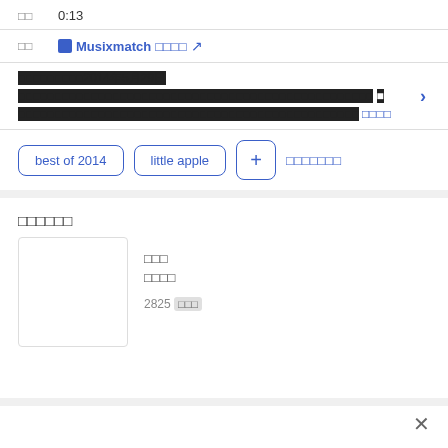□□  0:13
□□  Musixmatch □□□□ ↗
■■■■■■■■■2014年5月29日■■■■■■■■■■■■■■■■■■■■■■■■■■■■■■■■■■■■■■■■■■■■■■■■■ ■ ■■■■■■■■■■■■■■■■■■■■■■■■■■■■■■■■■■■■■■■■■■■■■■ □□□□
best of 2014
little apple
+ □□□□□□□
□□□□□□
□□□
□□□□
2825 □□□